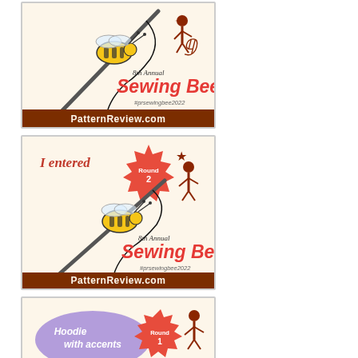[Figure (illustration): Badge 1: 8th Annual Sewing Bee badge with bee on needle illustration, #prsewingbee2022, PatternReview.com]
[Figure (illustration): Badge 2: I entered Round 2, 8th Annual Sewing Bee badge with bee on needle illustration, #prsewingbee2022, PatternReview.com]
[Figure (illustration): Badge 3: Hoodie with accents, Round 1 badge with bee illustration]